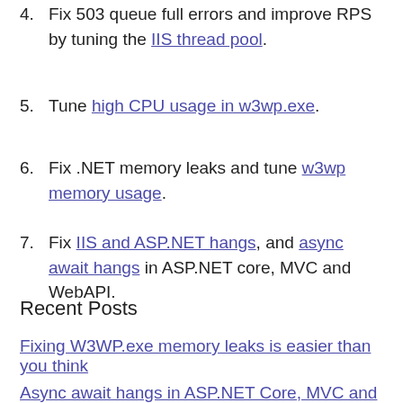Fix 503 queue full errors and improve RPS by tuning the IIS thread pool.
Tune high CPU usage in w3wp.exe.
Fix .NET memory leaks and tune w3wp memory usage.
Fix IIS and ASP.NET hangs, and async await hangs in ASP.NET core, MVC and WebAPI.
Recent Posts
Fixing W3WP.exe memory leaks is easier than you think
Async await hangs in ASP.NET Core, MVC and WebAPI
You may be massively overpaying for your CPUs